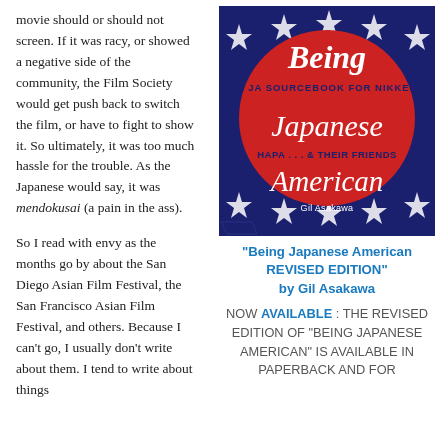movie should or should not screen. If it was racy, or showed a negative side of the community, the Film Society would get push back to switch the film, or have to fight to show it. So ultimately, it was too much hassle for the trouble. As the Japanese would say, it was mendokusai (a pain in the ass).
So I read with envy as the months go by about the San Diego Asian Film Festival, the San Francisco Asian Film Festival, and others. Because I can't go, I usually don't write about them. I tend to write about things
[Figure (illustration): Book cover of 'Being Japanese American: A JA Sourcebook for Nikkei, Hapa... & Their Friends' by Gil Asakawa. Dark blue background with white stars pattern. Large red circle in center with white script text 'Being' and 'American' with 'Japanese' in white, and subtitle text in dark navy.]
"Being Japanese American REVISED EDITION" by Gil Asakawa
NOW AVAILABLE : THE REVISED EDITION OF "BEING JAPANESE AMERICAN" IS AVAILABLE IN PAPERBACK AND FOR